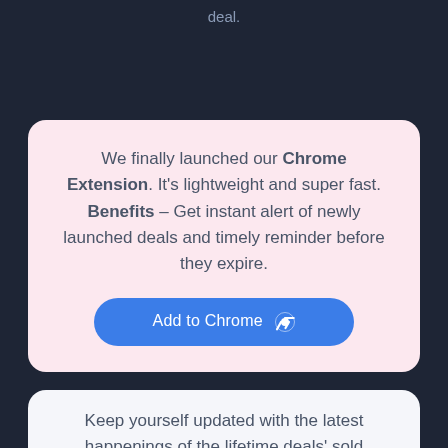deal.
We finally launched our Chrome Extension. It's lightweight and super fast. Benefits – Get instant alert of newly launched deals and timely reminder before they expire.
Add to Chrome
Keep yourself updated with the latest happenings of the lifetime deals' sold